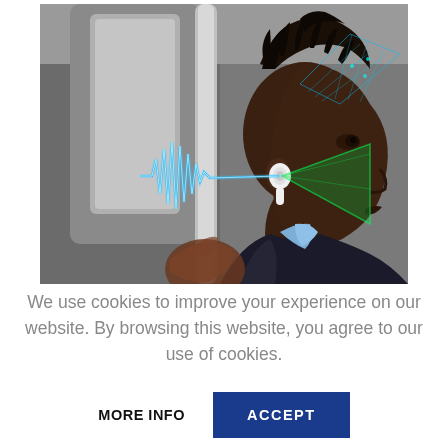[Figure (photo): A young Black man in a dark suit and light blue shirt is photographed in profile, sitting on public transit, holding a pole. He wears a white wireless earbud. Digital graphic overlays show a sound waveform in blue and a green triangular beam, with a blue cone/grid shape above his head, suggesting audio technology or noise cancellation.]
We use cookies to improve your experience on our website. By browsing this website, you agree to our use of cookies.
MORE INFO
ACCEPT